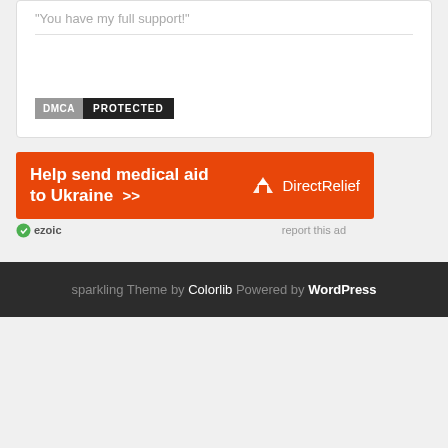“You have my full support!”
[Figure (logo): DMCA Protected badge — grey box with 'DMCA' and black box with 'PROTECTED']
[Figure (infographic): Orange ad banner: 'Help send medical aid to Ukraine >>' with DirectRelief logo on right]
ezoic   report this ad
sparkling Theme by Colorlib Powered by WordPress